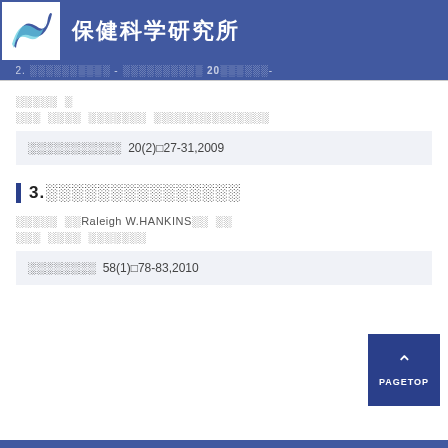保健科学研究所
2. ░░░░░░░░░-░░░░░░░░░░ 20░░░░░░-
░░░░░ ░
░░░ ░░░░ ░░░░░░░ ░░░░░░░░░░░░░░
░░░░░░░░░░░ 20(2)□27-31,2009
3.░░░░░░░░░░░░░░░
░░░░░ ░░Raleigh W.HANKINS░░ ░░
░░░ ░░░░ ░░░░░░░
░░░░░░░░ 58(1)□78-83,2010